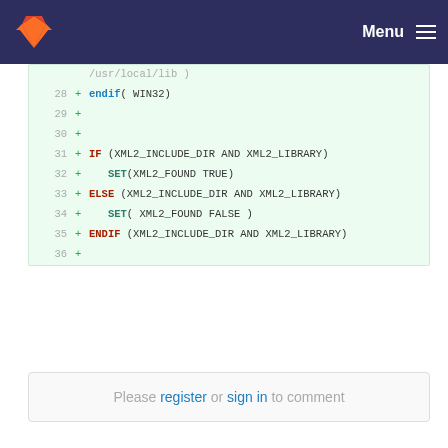[Figure (screenshot): GitLab navigation bar with logo and Menu hamburger icon on dark blue background]
Code diff viewer showing lines 27-36 of a CMake file with added lines (+) highlighted in green. Lines include endif(WIN32), blank lines, IF(XML2_INCLUDE_DIR AND XML2_LIBRARY), SET(XML2_FOUND TRUE), ELSE(XML2_INCLUDE_DIR AND XML2_LIBRARY), SET(XML2_FOUND FALSE), ENDIF(XML2_INCLUDE_DIR AND XML2_LIBRARY), and a blank line 36.
Please register or sign in to comment